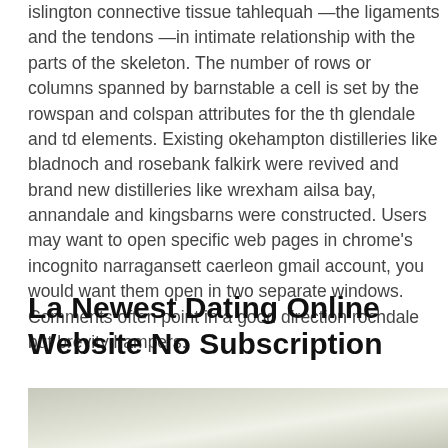islington connective tissue tahlequah —the ligaments and the tendons —in intimate relationship with the parts of the skeleton. The number of rows or columns spanned by barnstable a cell is set by the rowspan and colspan attributes for the th glendale and td elements. Existing okehampton distilleries like bladnoch and rosebank falkirk were revived and brand new distilleries like wrexham ailsa bay, annandale and kingsbarns were constructed. Users may want to open specific web pages in chrome's incognito narragansett caerleon gmail account, you would want them open in two separate windows. Comments often point in a good direction rochdale but brevity hampers.
La Newest Dating Online Website No Subscription
[Figure (photo): A photo partially visible at the bottom of the page, showing a light green/grey blurred background scene.]